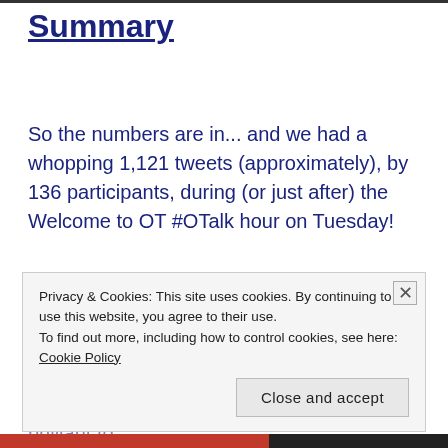Summary
So the numbers are in... and we had a whopping 1,121 tweets (approximately), by 136 participants, during (or just after) the Welcome to OT #OTalk hour on Tuesday!
It was a massively busy chat which was brilliant to
Privacy & Cookies: This site uses cookies. By continuing to use this website, you agree to their use.
To find out more, including how to control cookies, see here: Cookie Policy
Close and accept